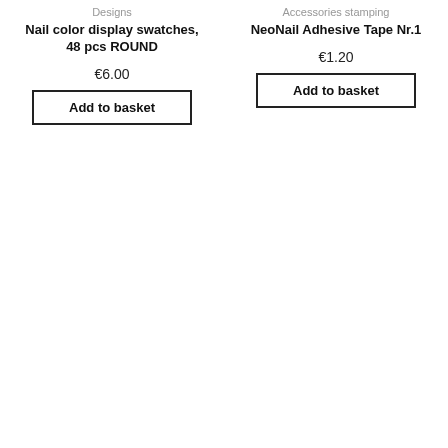Designs
Nail color display swatches, 48 pcs ROUND
€6.00
Add to basket
Accessories stamping
NeoNail Adhesive Tape Nr.1
€1.20
Add to basket
[Figure (photo): Roll of black/silver adhesive nail tape]
[Figure (photo): Roll of holographic/colorful adhesive nail tape]
Accessories stamping
NeoNail Adhesive Tape Nr.10
Accessories stamping
NeoNail Adhesive Tape Nr.11